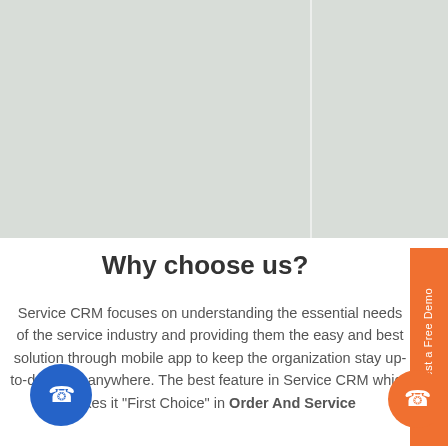[Figure (illustration): Light gray/green background image area with a vertical divider line, representing a screenshot or UI illustration placeholder at the top of the page.]
Why choose us?
Service CRM focuses on understanding the essential needs of the service industry and providing them the easy and best solution through mobile app to keep the organization stay up-to-date and anywhere. The best feature in Service CRM which makes it "First Choice" in Order And Service